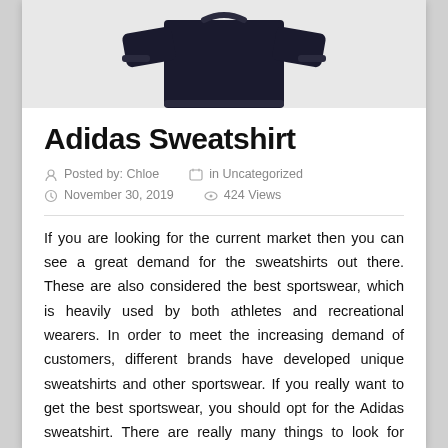[Figure (photo): Photo of a black Adidas sweatshirt against a light gray background, showing the upper torso portion with sleeves extended]
Adidas Sweatshirt
Posted by: Chloe   in Uncategorized
November 30, 2019   424 Views
If you are looking for the current market then you can see a great demand for the sweatshirts out there. These are also considered the best sportswear, which is heavily used by both athletes and recreational wearers. In order to meet the increasing demand of customers, different brands have developed unique sweatshirts and other sportswear. If you really want to get the best sportswear, you should opt for the Adidas sweatshirt. There are really many things to look for when looking for the lineup for Adidas sweatshirts. This brand has managed to establish itself as a leading name in the manufacture of sports goods, apparel and footwear. Because of this, Adidas